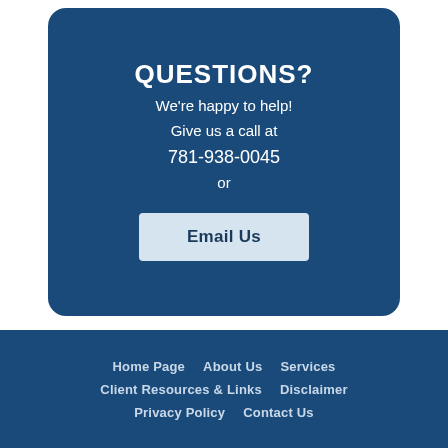QUESTIONS?
We're happy to help!
Give us a call at
781-938-0045
or
Email Us
Home Page   About Us   Services   Client Resources & Links   Disclaimer   Privacy Policy   Contact Us